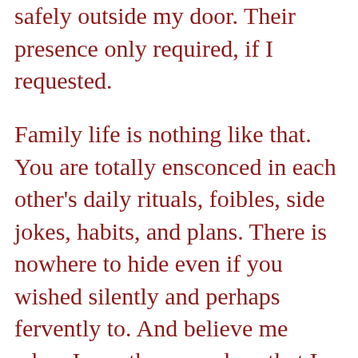safely outside my door. Their presence only required, if I requested.
Family life is nothing like that. You are totally ensconced in each other's daily rituals, foibles, side jokes, habits, and plans. There is nowhere to hide even if you wished silently and perhaps fervently to. And believe me when I say, there are days that I wish to hide away from the inane and mundane, to run away and lounge about in a supine position, and veg., all day and night with a great book and drift mindlessly